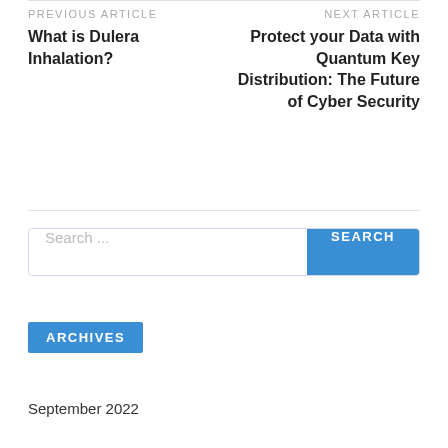PREVIOUS ARTICLE
What is Dulera Inhalation?
NEXT ARTICLE
Protect your Data with Quantum Key Distribution: The Future of Cyber Security
Search ...
ARCHIVES
September 2022